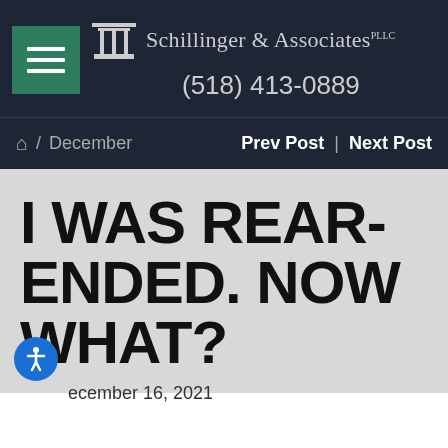[Figure (logo): Schillinger & Associates PLLC law firm logo with pillar icon and phone number (518) 413-0889 on dark navy background]
⌂ / December    Prev Post | Next Post
I WAS REAR-ENDED. NOW WHAT?
December 16, 2021